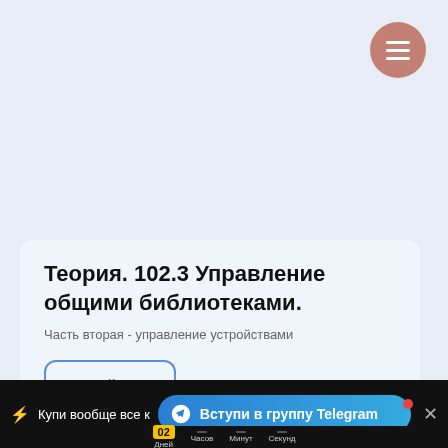[Figure (screenshot): Navigation menu button — salmon/rose circular button with three white horizontal lines (hamburger icon) in top-right corner of the page header area]
Теория. 102.3 Управление общими библиотеками.
Часть вторая - управление устройствами
Войти
⚡ Купи вообще все к...
Вступи в группу Telegram
02
Дней  Часов  Минут  Секунд